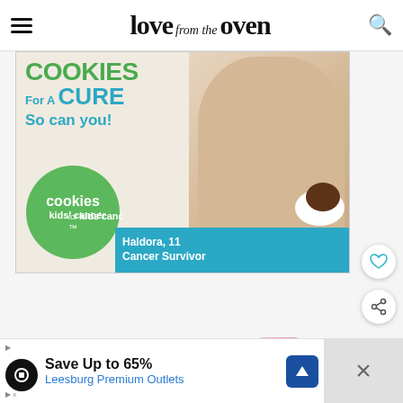love from the oven
[Figure (photo): Cookies for Kids' Cancer advertisement banner showing a smiling girl holding a plate of cookies with text: COOKIES For A CURE So can you! with green circle logo reading cookies for kids' cancer and teal banner reading Haldora, 11 Cancer Survivor]
[Figure (other): Heart/like button icon (circular white button with heart outline)]
[Figure (other): Share button icon (circular white button with share/network icon)]
WHAT'S NEXT → Soft Sugar Cookies
[Figure (photo): Thumbnail image of soft sugar cookies with pink frosting]
[Figure (other): Advertisement banner: Save Up to 65% Leesburg Premium Outlets with navigation icon]